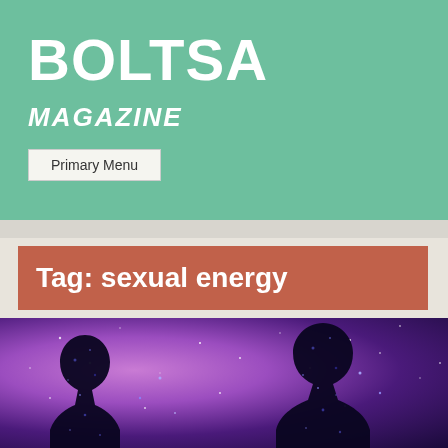BOLTSA
MAGAZINE
Primary Menu
Tag: sexual energy
[Figure (photo): Two cosmic silhouettes of a couple facing each other against a purple and blue nebula starfield background]